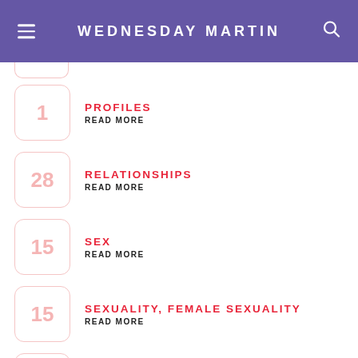WEDNESDAY MARTIN
PROFILES
READ MORE
1
RELATIONSHIPS
READ MORE
28
SEX
READ MORE
15
SEXUALITY, FEMALE SEXUALITY
READ MORE
15
SOCIAL SUPPORT AND FRIENDSHIP
READ MORE
2